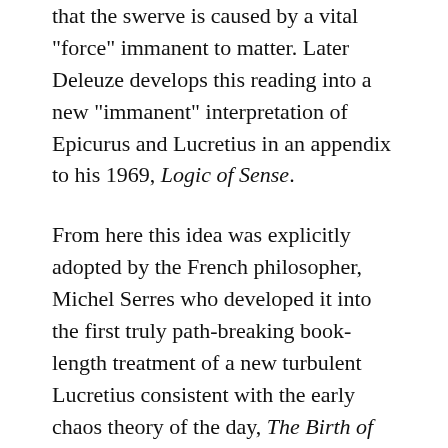that the swerve is caused by a vital "force" immanent to matter. Later Deleuze develops this reading into a new "immanent" interpretation of Epicurus and Lucretius in an appendix to his 1969, Logic of Sense.
From here this idea was explicitly adopted by the French philosopher, Michel Serres who developed it into the first truly path-breaking book-length treatment of a new turbulent Lucretius consistent with the early chaos theory of the day, The Birth of Physics in the Text of Lucretius (1977). Unfortunately, Serres book was not translated into English until 2000, after which it went out of print.